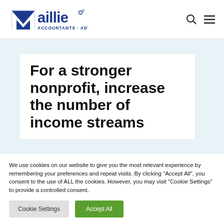[Figure (logo): Maillie Accountants · Advisors logo with blue M and text]
For a stronger nonprofit, increase the number of income streams
We use cookies on our website to give you the most relevant experience by remembering your preferences and repeat visits. By clicking "Accept All", you consent to the use of ALL the cookies. However, you may visit "Cookie Settings" to provide a controlled consent.